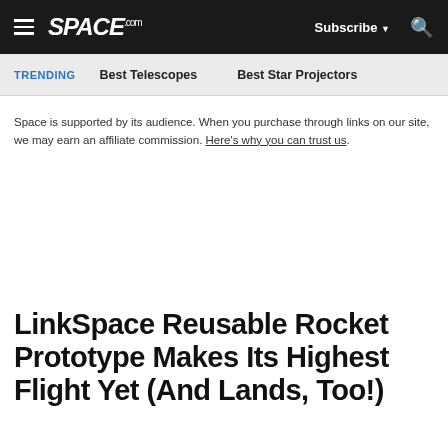SPACE.com — Subscribe — Search
TRENDING   Best Telescopes   Best Star Projectors
Space is supported by its audience. When you purchase through links on our site, we may earn an affiliate commission. Here's why you can trust us.
LinkSpace Reusable Rocket Prototype Makes Its Highest Flight Yet (And Lands, Too!)